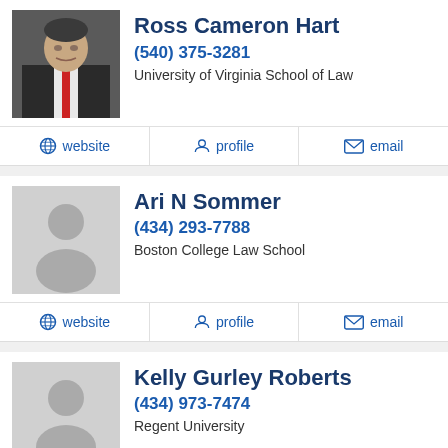Ross Cameron Hart
(540) 375-3281
University of Virginia School of Law
website | profile | email
Ari N Sommer
(434) 293-7788
Boston College Law School
website | profile | email
Kelly Gurley Roberts
(434) 973-7474
Regent University
profile | email